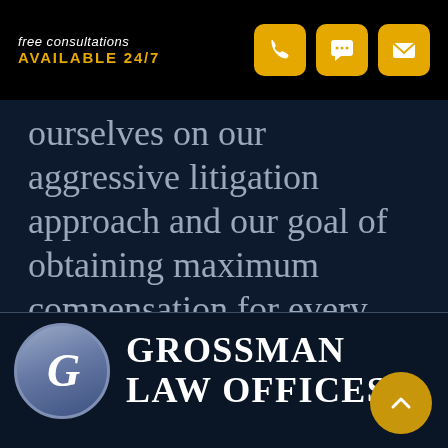free consultations
AVAILABLE 24/7
ourselves on our aggressive litigation approach and our goal of obtaining maximum compensation for every client.
[Figure (logo): Grossman Law Offices logo: circular G emblem in steel blue with white italic G, next to firm name GROSSMAN LAW OFFICES in white serif bold text]